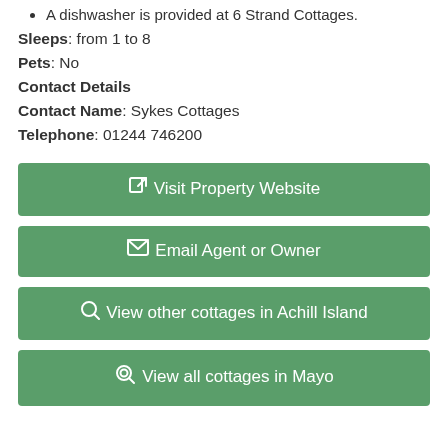A dishwasher is provided at 6 Strand Cottages.
Sleeps: from 1 to 8
Pets: No
Contact Details
Contact Name: Sykes Cottages
Telephone: 01244 746200
Visit Property Website
Email Agent or Owner
View other cottages in Achill Island
View all cottages in Mayo